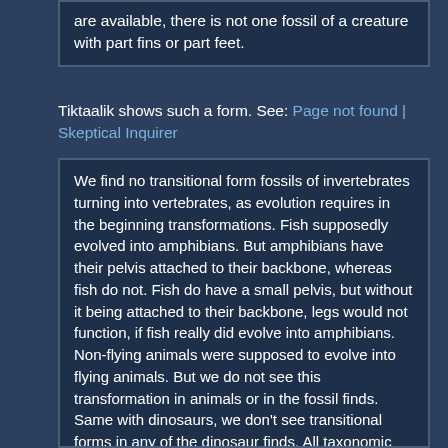are available, there is not one fossil of a creature with part fins or part feet.
Tiktaalik shows such a form. See: Page not found | Skeptical Inquirer
We find no transitional form fossils of invertebrates turning into vertebrates, as evolution requires in the beginning transformations. Fish supposedly evolved into amphibians. But amphibians have their pelvis attached to their backbone, whereas fish do not. Fish do have a small pelvis, but without it being attached to their backbone, legs would not function, if fish really did evolve into amphibians. Non-flying animals were supposed to evolve into flying animals. But we do not see this transformation in animals or in the fossil finds. Same with dinosaurs, we don't see transitional forms in any of the dinosaur finds. All taxonomic orders, classes, phyla appear suddenly in the fossil record, then the evolution...